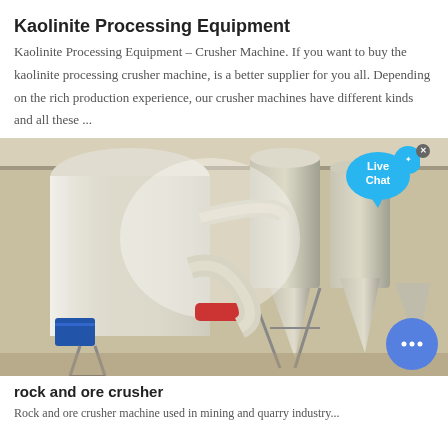[Figure (photo): Narrow top strip showing industrial/mining scene with earthy brown tones]
Kaolinite Processing Equipment
Kaolinite Processing Equipment – Crusher Machine. If you want to buy the kaolinite processing crusher machine, is a better supplier for you all. Depending on the rich production experience, our crusher machines have different kinds and all these ...
[Figure (photo): Industrial photo of kaolinite processing equipment inside a factory building, showing large silos, cyclone separators, pipes, and conveyor systems]
rock and ore crusher
Rock and ore crusher machine used in mining and quarry industry...